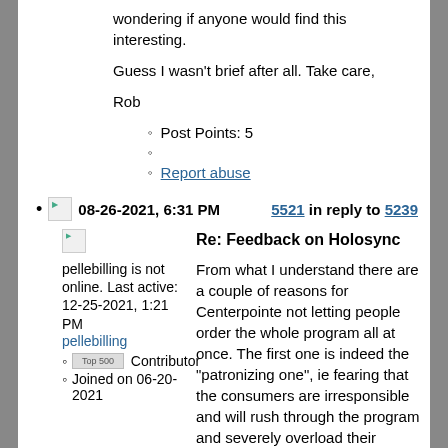wondering if anyone would find this interesting.
Guess I wasn't brief after all.  Take care,
Rob
Post Points: 5
Report abuse
08-26-2021, 6:31 PM   5521 in reply to 5239
pellebilling is not online. Last active: 12-25-2021, 1:21 PM
pellebilling
Top 500 Contributor
Joined on 06-20-2021
Re: Feedback on Holosync
From what I understand there are a couple of reasons for Centerpointe not letting people order the whole program all at once. The first one is indeed the "patronizing one", ie fearing that the consumers are irresponsible and will rush through the program and severely overload their nervous systems without getting any benefits. The second reason (I